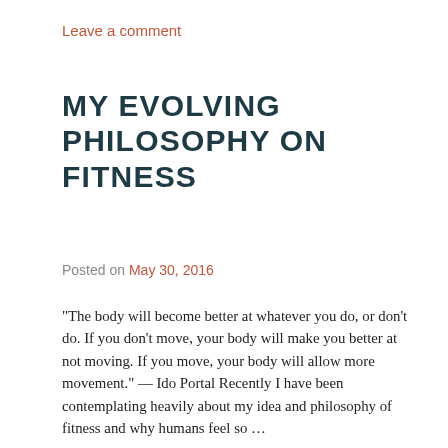Leave a comment
MY EVOLVING PHILOSOPHY ON FITNESS
Posted on May 30, 2016
"The body will become better at whatever you do, or don't do. If you don't move, your body will make you better at not moving. If you move, your body will allow more movement." — Ido Portal Recently I have been contemplating heavily about my idea and philosophy of fitness and why humans feel so …
Continue reading →
IF YOU FOUND THIS USEFUL, PLEASE SHARE!